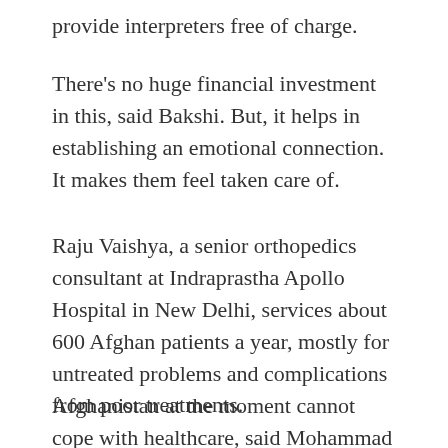provide interpreters free of charge.
There's no huge financial investment in this, said Bakshi. But, it helps in establishing an emotional connection. It makes them feel taken care of.
Raju Vaishya, a senior orthopedics consultant at Indraprastha Apollo Hospital in New Delhi, services about 600 Afghan patients a year, mostly for untreated problems and complications from poor treatments.
Afghanistan at the moment cannot cope with healthcare, said Mohammad Naim, who traveled